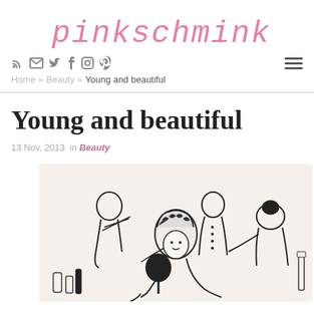pinkschmink
RSS Email Twitter Facebook Instagram Pinterest navigation icons, Home » Beauty » Young and beautiful breadcrumb
Young and beautiful
13 Nov, 2013  in Beauty
[Figure (illustration): Black and white line art illustration of 1920s-style women and a man gathered around a woman being styled, with beauty implements visible]